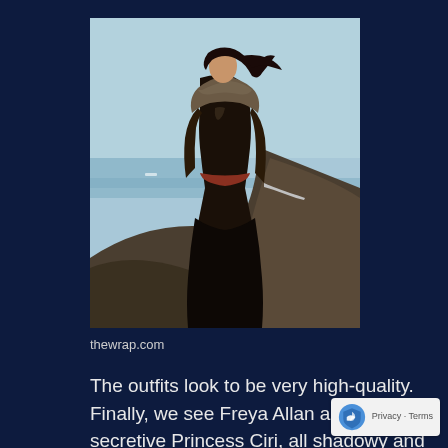[Figure (photo): A woman in dark medieval fantasy costume with fur-lined armor and a long black coat, holding a sword, standing on a rocky hillside with the ocean and pale blue sky in the background. Hair blowing in the wind.]
thewrap.com
The outfits look to be very high-quality. Finally, we see Freya Allan as the secretive Princess Ciri, all shadowy and mysterious, lurking in the forest while the others are